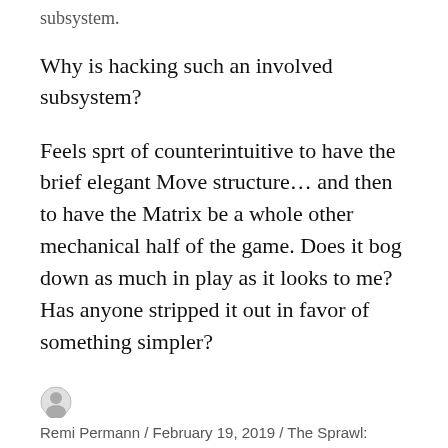subsystem.
Why is hacking such an involved subsystem?
Feels sprt of counterintuitive to have the brief elegant Move structure… and then to have the Matrix be a whole other mechanical half of the game. Does it bog down as much in play as it looks to me? Has anyone stripped it out in favor of something simpler?
Remi Permann / February 19, 2019 / The Sprawl: Discussion / Remi Permann / 8 Comments
Join us at https://mewe.com/join/cy